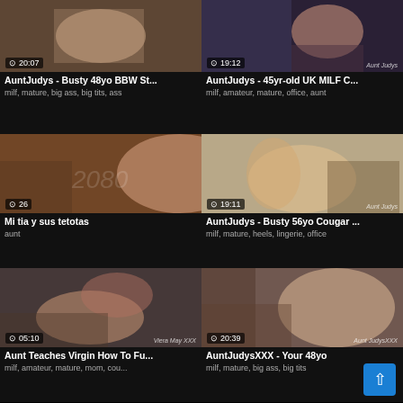[Figure (screenshot): Video thumbnail grid showing 6 adult video thumbnails with durations and metadata]
AuntJudys - Busty 48yo BBW St...
milf, mature, big ass, big tits, ass
AuntJudys - 45yr-old UK MILF C...
milf, amateur, mature, office, aunt
Mi tia y sus tetotas
aunt
AuntJudys - Busty 56yo Cougar ...
milf, mature, heels, lingerie, office
Aunt Teaches Virgin How To Fu...
milf, amateur, mature, mom, cou...
AuntJudysXXX - Your 48yo
milf, mature, big ass, big tits